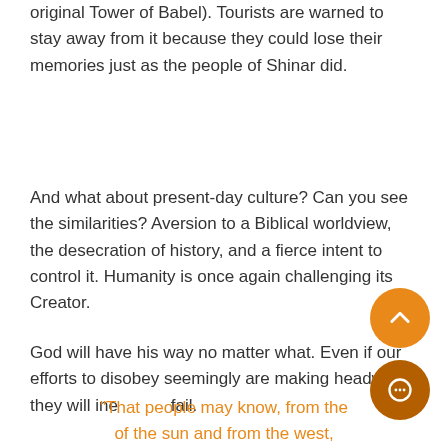original Tower of Babel). Tourists are warned to stay away from it because they could lose their memories just as the people of Shinar did.
And what about present-day culture? Can you see the similarities? Aversion to a Biblical worldview, the desecration of history, and a fierce intent to control it. Humanity is once again challenging its Creator.
God will have his way no matter what. Even if our efforts to disobey seemingly are making headway, they will ine[vitably] fail.
"That people may know, from the [rising] of the sun and from the west,